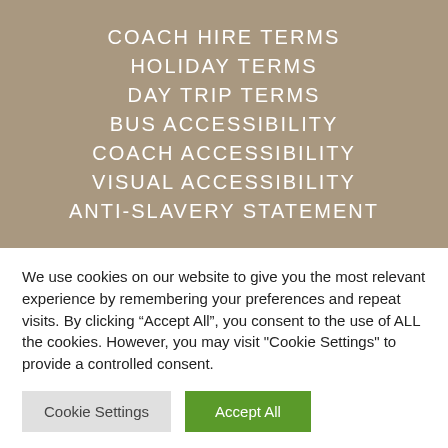COACH HIRE TERMS
HOLIDAY TERMS
DAY TRIP TERMS
BUS ACCESSIBILITY
COACH ACCESSIBILITY
VISUAL ACCESSIBILITY
ANTI-SLAVERY STATEMENT
We use cookies on our website to give you the most relevant experience by remembering your preferences and repeat visits. By clicking “Accept All”, you consent to the use of ALL the cookies. However, you may visit "Cookie Settings" to provide a controlled consent.
Cookie Settings | Accept All